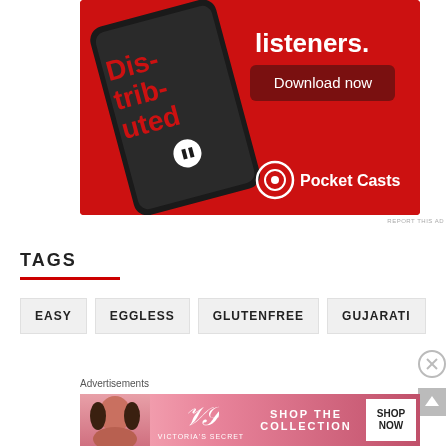[Figure (photo): Pocket Casts advertisement on red background showing a smartphone with the app open and text 'Distributed' and 'listeners.' with a 'Download now' button and Pocket Casts logo]
REPORT THIS AD
TAGS
EASY
EGGLESS
GLUTENFREE
GUJARATI
Advertisements
[Figure (photo): Victoria's Secret advertisement with pink background, model, VS logo, text 'SHOP THE COLLECTION' and a 'SHOP NOW' button]